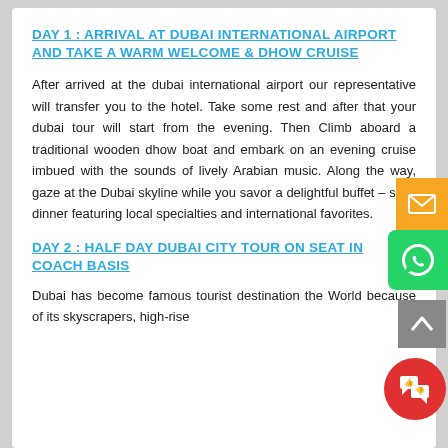DAY 1 : ARRIVAL AT DUBAI INTERNATIONAL AIRPORT AND TAKE A WARM WELCOME & DHOW CRUISE
After arrived at the dubai international airport our representative will transfer you to the hotel. Take some rest and after that your dubai tour will start from the evening. Then Climb aboard a traditional wooden dhow boat and embark on an evening cruise imbued with the sounds of lively Arabian music. Along the way, gaze at the Dubai skyline while you savor a delightful buffet – style dinner featuring local specialties and international favorites.
DAY 2 : HALF DAY DUBAI CITY TOUR ON SEAT IN COACH BASIS
Dubai has become famous tourist destination the World because of its skyscrapers, high-rise